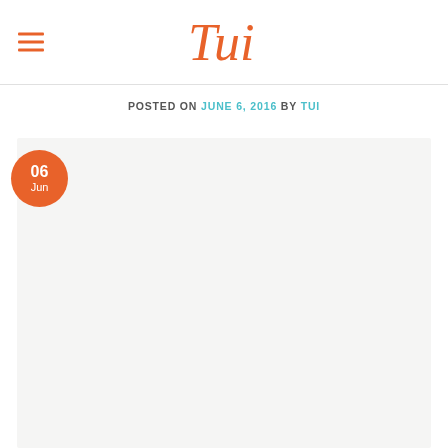Tui (logo/brand name)
POSTED ON JUNE 6, 2016 BY TUI
[Figure (other): Large light grey content area placeholder with an orange circular date badge showing '06 Jun' in the top-left corner]